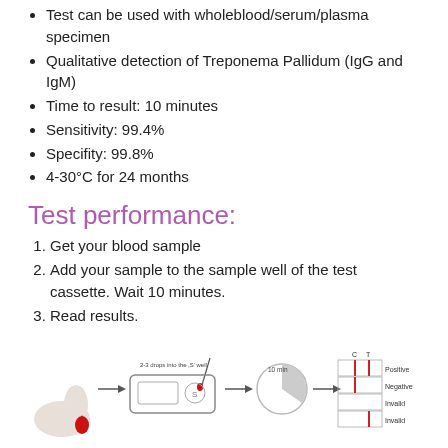Test can be used with wholeblood/serum/plasma specimen
Qualitative detection of Treponema Pallidum (IgG and IgM)
Time to result: 10 minutes
Sensitivity: 99.4%
Specifity: 99.8%
4-30°C for 24 months
Test performance:
Get your blood sample
Add your sample to the sample well of the test cassette. Wait 10 minutes.
Read results.
[Figure (infographic): Step-by-step diagram showing: finger prick with blood drop, arrow, test cassette with '2-3 drops into the S well' label and dropper, arrow, 10 min timer, arrow, result interpretation panel showing C and T lines for Positive, Negative, Invalid, Invalid outcomes]